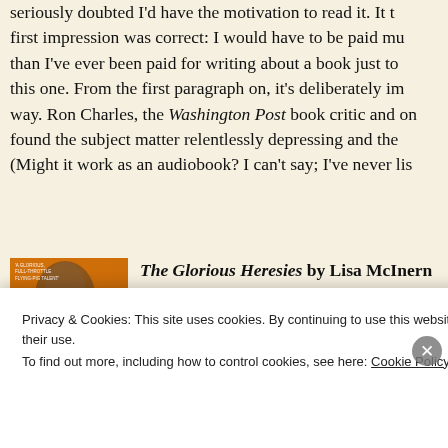seriously doubted I'd have the motivation to read it. It turns out my first impression was correct: I would have to be paid much more than I've ever been paid for writing about a book just to finish this one. From the first paragraph on, it's deliberately impenetrable way. Ron Charles, the Washington Post book critic and one found the subject matter relentlessly depressing and the (Might it work as an audiobook? I can't say; I've never lis
The Glorious Heresies by Lisa McInern difficult as expected, though there is mi italics (one of my reading pet peeves). B stories, and after a couple of chapters di
Privacy & Cookies: This site uses cookies. By continuing to use this website, you agree to their use.
To find out more, including how to control cookies, see here: Cookie Policy
Close and accept